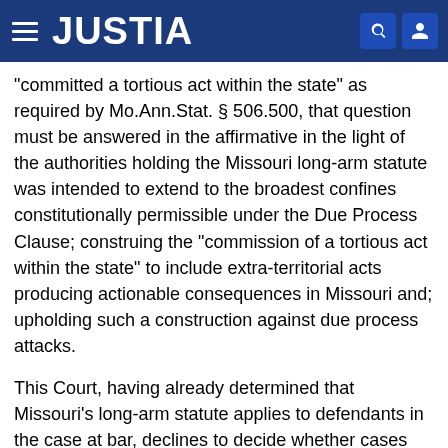JUSTIA
"committed a tortious act within the state" as required by Mo.Ann.Stat. § 506.500, that question must be answered in the affirmative in the light of the authorities holding the Missouri long-arm statute was intended to extend to the broadest confines constitutionally permissible under the Due Process Clause; construing the "commission of a tortious act within the state" to include extra-territorial acts producing actionable consequences in Missouri and; upholding such a construction against due process attacks.
This Court, having already determined that Missouri's long-arm statute applies to defendants in the case at bar, declines to decide whether cases construing the "commission of a tortious act within the state" to include "extra-territorial acts producing actionable consequences within the state" could withstand due